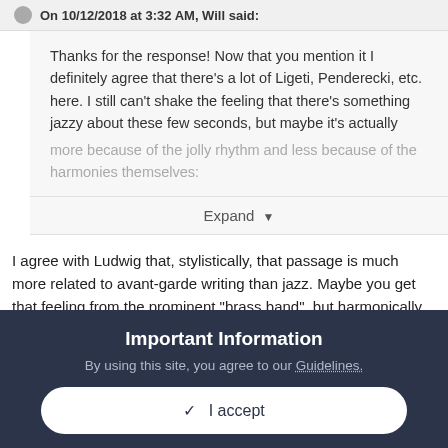On 10/12/2018 at 3:32 AM, Will said:
Thanks for the response! Now that you mention it I definitely agree that there's a lot of Ligeti, Penderecki, etc. here. I still can't shake the feeling that there's something jazzy about these few seconds, but maybe it's actually more because of the jolly rhythm and less because of the harmonies themselves:
Expand
I agree with Ludwig that, stylistically, that passage is much more related to avant-garde writing than jazz. Maybe you get that feeling from the prominent "brass band", but harmonically it's definitely not jazz, in my opinion. I agree that it's really a passage
Important Information
By using this site, you agree to our Guidelines.
✓ I accept